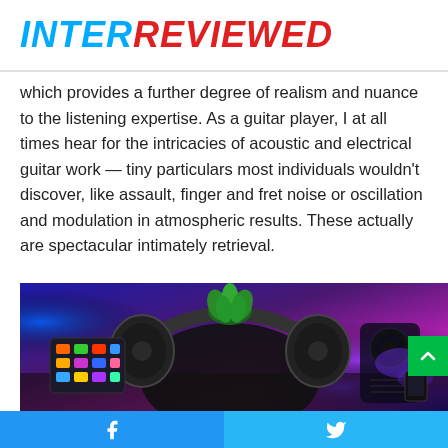INTERREVIEWED
which provides a further degree of realism and nuance to the listening expertise. As a guitar player, I at all times hear for the intricacies of acoustic and electrical guitar work — tiny particulars most individuals wouldn't discover, like assault, finger and fret noise or oscillation and modulation in atmospheric results. These actually are spectacular intimately retrieval.
[Figure (photo): Gaming/audio setup with headphones, a small green plant, a colorful touchpad controller, and purple/blue ambient RGB lighting in the background]
Facebook share button and Twitter share button